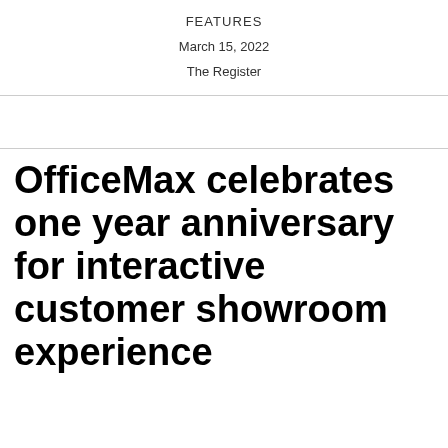FEATURES
March 15, 2022
The Register
OfficeMax celebrates one year anniversary for interactive customer showroom experience